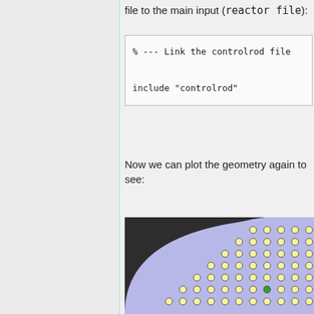file to the main input (reactor file):
% --- Link the controlrod file

include "controlrod"
Now we can plot the geometry again to see:
[Figure (engineering-diagram): Reactor geometry plot showing a quarter-circle cross-section. Dark background (outside reactor) with a large light purple/periwinkle filled quarter circle. Inside the circle are many small yellow/cream colored fuel pin circles arranged in a grid pattern, with one green circle visible near the center-right area indicating a control rod location. The arrangement shows a typical nuclear reactor core geometry in 2D cross-section.]